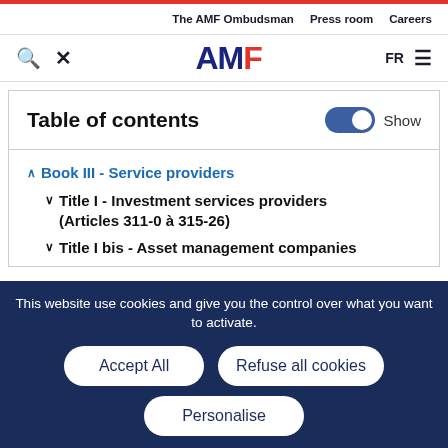The AMF Ombudsman   Press room   Careers
[Figure (logo): AMF logo with search and tools icons, FR language selector, and hamburger menu]
Table of contents
Book III - Service providers
Title I - Investment services providers (Articles 311-0 à 315-26)
Title I bis - Asset management companies
This website use cookies and give you the control over what you want to activate.
Accept All   Refuse all cookies   Personalise